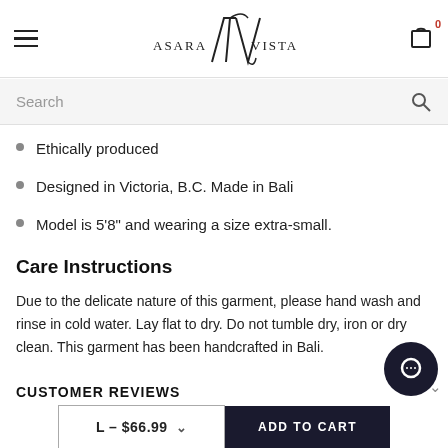Asara Vista — navigation and logo
Search
Ethically produced
Designed in Victoria, B.C. Made in Bali
Model is 5'8" and wearing a size extra-small.
Care Instructions
Due to the delicate nature of this garment, please hand wash and rinse in cold water. Lay flat to dry. Do not tumble dry, iron or dry clean. This garment has been handcrafted in Bali.
CUSTOMER REVIEWS
L - $66.99  |  ADD TO CART